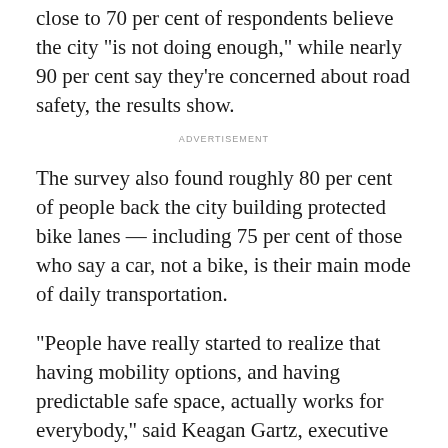close to 70 per cent of respondents believe the city "is not doing enough," while nearly 90 per cent say they're concerned about road safety, the results show.
ADVERTISEMENT
The survey also found roughly 80 per cent of people back the city building protected bike lanes — including 75 per cent of those who say a car, not a bike, is their main mode of daily transportation.
"People have really started to realize that having mobility options, and having predictable safe space, actually works for everybody," said Keagan Gartz, executive director with cycling advocacy organization Cycle Toronto. "And they want to see more of it."